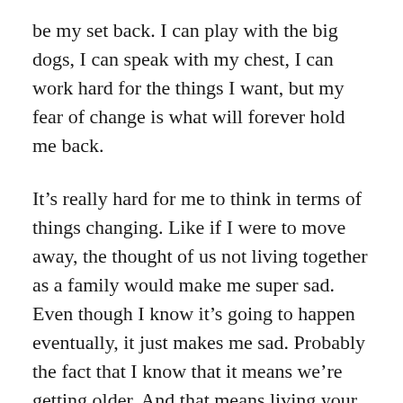be my set back. I can play with the big dogs, I can speak with my chest, I can work hard for the things I want, but my fear of change is what will forever hold me back.
It’s really hard for me to think in terms of things changing. Like if I were to move away, the thought of us not living together as a family would make me super sad. Even though I know it’s going to happen eventually, it just makes me sad. Probably the fact that I know that it means we’re getting older. And that means living your own life. And that everything won’t be as family oriented as it once was. And that makes me sad as hell! I’m a very sentimental person, thinking of the future makes me excited but at the same time sad. The fact that I can’t rewind and have these moments again makes me want to cling on to what I “have.”